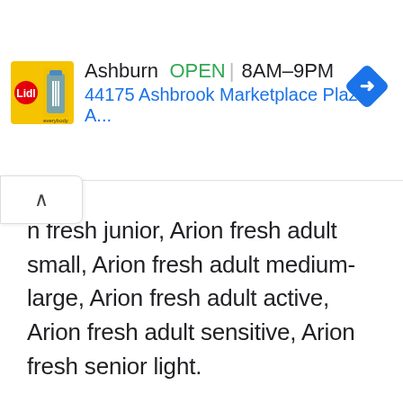[Figure (screenshot): Lidl store ad banner showing Ashburn location, OPEN status, hours 8AM-9PM, address 44175 Ashbrook Marketplace Plaza, A..., with navigation arrow diamond icon]
n fresh junior, Arion fresh adult small, Arion fresh adult medium-large, Arion fresh adult active, Arion fresh adult sensitive, Arion fresh senior light.
Let's consider the Arion fresh adult active variety as our benchmark in order to see the value you can get from Arion dog food.
Arion Fresh Adult Active